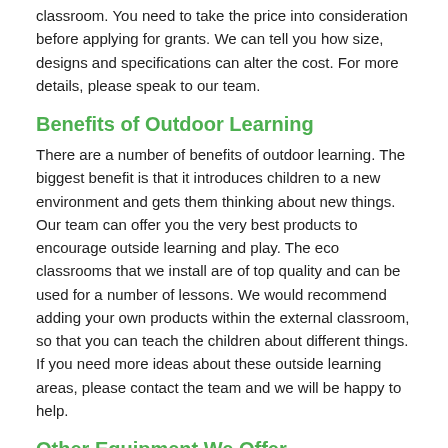classroom. You need to take the price into consideration before applying for grants. We can tell you how size, designs and specifications can alter the cost. For more details, please speak to our team.
Benefits of Outdoor Learning
There are a number of benefits of outdoor learning. The biggest benefit is that it introduces children to a new environment and gets them thinking about new things. Our team can offer you the very best products to encourage outside learning and play. The eco classrooms that we install are of top quality and can be used for a number of lessons. We would recommend adding your own products within the external classroom, so that you can teach the children about different things. If you need more ideas about these outside learning areas, please contact the team and we will be happy to help.
Other Equipment We Offer
Den Making Kit in Bagley
 - https://www.primaryschoolresources.org.uk/equipment/dens/shrops